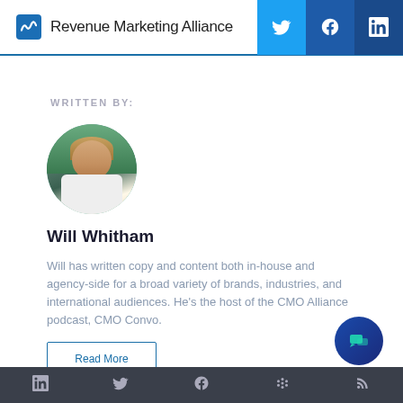Revenue Marketing Alliance
WRITTEN BY:
[Figure (photo): Circular profile photo of Will Whitham, a man with light hair, natural outdoor background with trees]
Will Whitham
Will has written copy and content both in-house and agency-side for a broad variety of brands, industries, and international audiences. He's the host of the CMO Alliance podcast, CMO Convo.
Read More
LinkedIn Twitter Facebook Community RSS